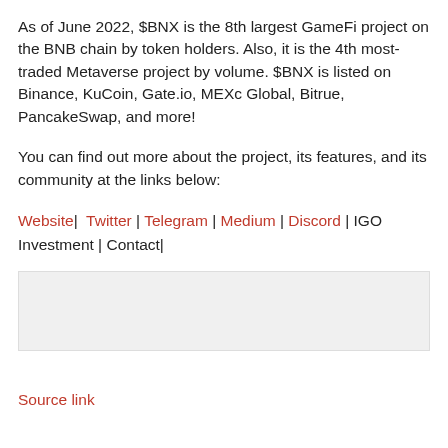As of June 2022, $BNX is the 8th largest GameFi project on the BNB chain by token holders. Also, it is the 4th most-traded Metaverse project by volume. $BNX is listed on Binance, KuCoin, Gate.io, MEXc Global, Bitrue, PancakeSwap, and more!
You can find out more about the project, its features, and its community at the links below:
Website | Twitter | Telegram | Medium | Discord | IGO Investment | Contact|
[Figure (other): Light grey rectangular box, likely an embedded image or media placeholder]
Source link